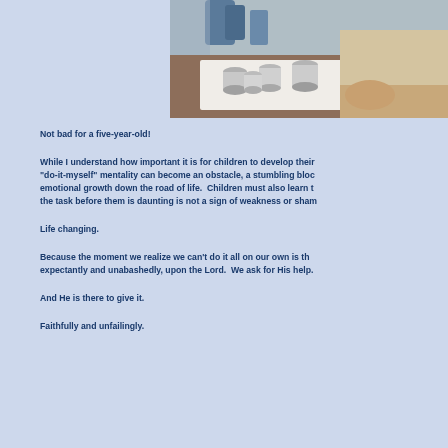[Figure (photo): A child using cookie cutters on dough on a table, with metal cookie cutter shapes arranged on a white surface, hands visible pressing into the dough]
Not bad for a five-year-old!
While I understand how important it is for children to develop their "do-it-myself" mentality can become an obstacle, a stumbling block emotional growth down the road of life.  Children must also learn th the task before them is daunting is not a sign of weakness or sham
Life changing.
Because the moment we realize we can't do it all on our own is the expectantly and unabashedly, upon the Lord.  We ask for His help.
And He is there to give it.
Faithfully and unfailingly.